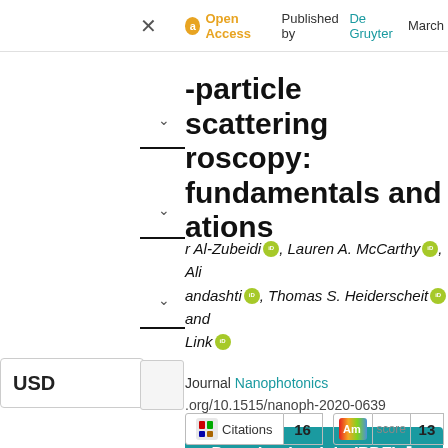Open Access  Published by De Gruyter  March
-particle scattering oscopy: fundamentals and ations
r Al-Zubeidi, Lauren A. McCarthy, Ali andashti, Thomas S. Heiderscheit and Link
Journal Nanophotonics
.org/10.1515/nanoph-2020-0639
Download article (PDF)
USD
Citations  16   Am score  13